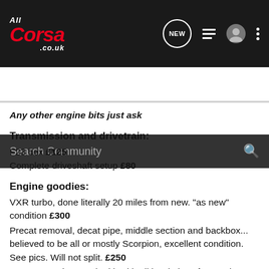AllCorsa.co.uk navigation bar with logo, NEW button, list icon, user icon, more icon
Search Community
Any other engine bits just ask
Transmission and drivetrain:
F23 box £125
Complete driveshaft setup £80
Engine goodies:
VXR turbo, done literally 20 miles from new. "as new" condition £300
Precat removal, decat pipe, middle section and backbox... believed to be all or mostly Scorpion, excellent condition. See pics. Will not split. £250
Front mount intercooler kit with all hard pipes from turbo to tophat. Enlarged tophat, clamps and silicone hoses included too. Full kit. £150